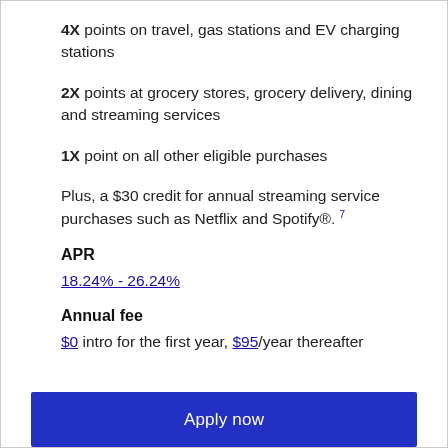4X points on travel, gas stations and EV charging stations
2X points at grocery stores, grocery delivery, dining and streaming services
1X point on all other eligible purchases
Plus, a $30 credit for annual streaming service purchases such as Netflix and Spotify®. 7
APR
18.24% - 26.24%
Annual fee
$0 intro for the first year, $95/year thereafter
Apply now